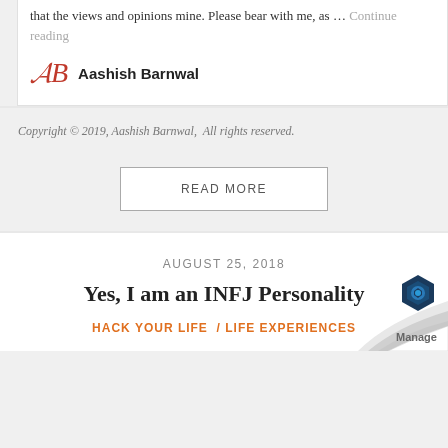that the views and opinions mine. Please bear with me, as … Continue reading
Aashish Barnwal
Copyright © 2019, Aashish Barnwal,  All rights reserved.
READ MORE
AUGUST 25, 2018
Yes, I am an INFJ Personality
HACK YOUR LIFE / LIFE EXPERIENCES
[Figure (other): Page curl decoration with Manage logo in bottom right corner]